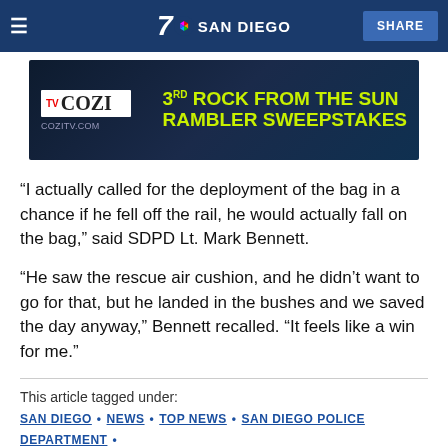7 SAN DIEGO | SHARE
[Figure (photo): COZI TV advertisement banner: '3RD ROCK FROM THE SUN RAMBLER SWEEPSTAKES' with red classic car, cozitv.com]
“I actually called for the deployment of the bag in a chance if he fell off the rail, he would actually fall on the bag,” said SDPD Lt. Mark Bennett.
“He saw the rescue air cushion, and he didn’t want to go for that, but he landed in the bushes and we saved the day anyway,” Bennett recalled. “It feels like a win for me.”
This article tagged under:
SAN DIEGO • NEWS • TOP NEWS • SAN DIEGO POLICE DEPARTMENT • HEAD